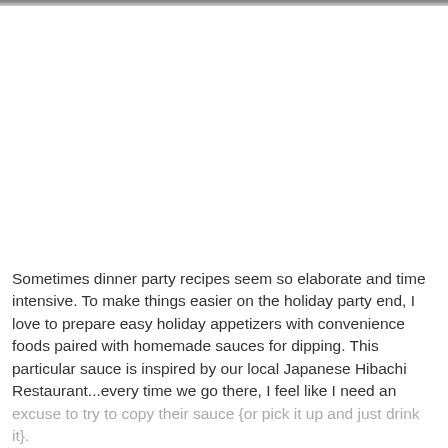[Figure (photo): Partial view of a food photo at the top of the page, cropped — only the very bottom edge of an image is visible as a thin strip at the top.]
Sometimes dinner party recipes seem so elaborate and time intensive. To make things easier on the holiday party end, I love to prepare easy holiday appetizers with convenience foods paired with homemade sauces for dipping. This particular sauce is inspired by our local Japanese Hibachi Restaurant...every time we go there, I feel like I need an excuse to try to copy their sauce {or pick it up and just drink it}.